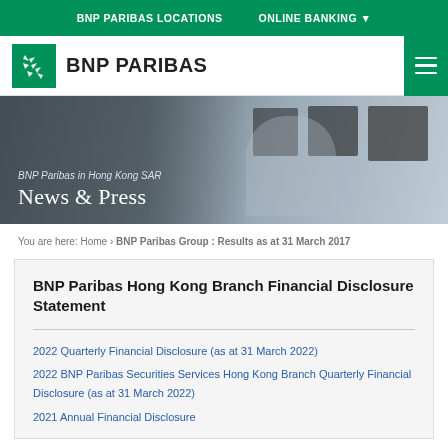BNP PARIBAS LOCATIONS   ONLINE BANKING
[Figure (logo): BNP Paribas logo with green icon and bold text BNP PARIBAS]
[Figure (photo): Hero image of a man in business attire on a phone call at a trading desk with monitors in background, with text overlay: BNP Paribas in Hong Kong SAR / News & Press]
You are here: Home › BNP Paribas Group : Results as at 31 March 2017
BNP Paribas Hong Kong Branch Financial Disclosure Statement
2022 Quarterly Financial Disclosure (as at 31 March 2022)
2022 BNP Paribas Securities Services Hong Kong Branch Quarterly Financial Disclosure (as at 31 March 2022)
2021 Annual Financial Disclosure